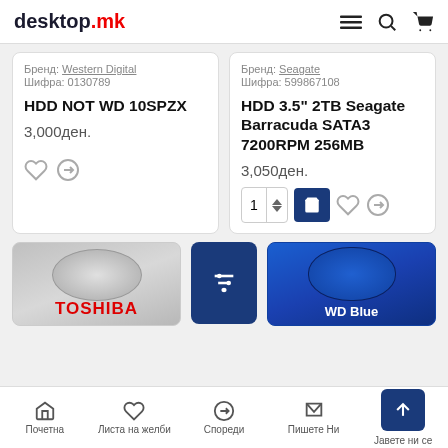desktop.mk
Бренд: Western Digital
Шифра: 0130789
HDD NOT WD 10SPZX
3,000ден.
Бренд: Seagate
Шифра: 599867108
HDD 3.5" 2TB Seagate Barracuda SATA3 7200RPM 256MB
3,050ден.
[Figure (screenshot): Partial product cards showing Toshiba and WD Blue hard drives with a filter button]
Почетна | Листа на желби | Спореди | Пишете Ни | Јавете ни се